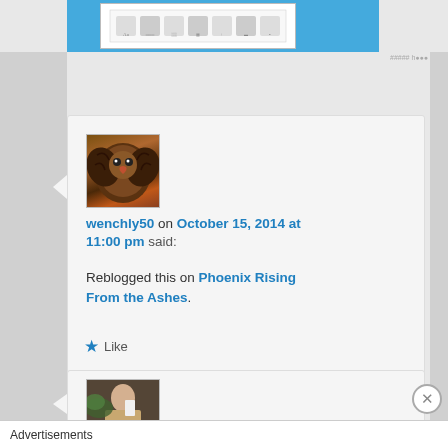[Figure (screenshot): Top banner with blue background and white interface element in center showing app/software UI screenshot]
wenchly50 on October 15, 2014 at 11:00 pm said: Reblogged this on Phoenix Rising From the Ashes.
Like
[Figure (screenshot): Second comment card with avatar photo showing a person]
Advertisements